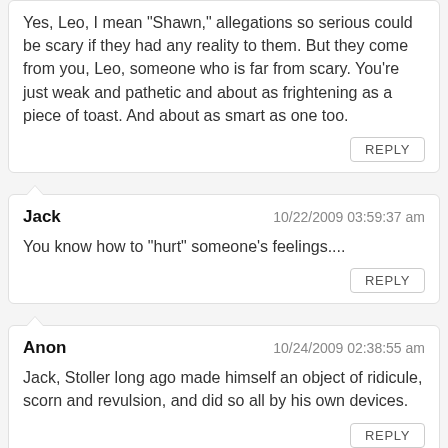Yes, Leo, I mean "Shawn," allegations so serious could be scary if they had any reality to them. But they come from you, Leo, someone who is far from scary. You're just weak and pathetic and about as frightening as a piece of toast. And about as smart as one too.
Jack  10/22/2009 03:59:37 am
You know how to "hurt" someone's feelings....
Anon  10/24/2009 02:38:55 am
Jack, Stoller long ago made himself an object of ridicule, scorn and revulsion, and did so all by his own devices.
adidas shoes outlet  6/7/2010 03:42:12 pm
Hbe article's content rich variety which make us move for our